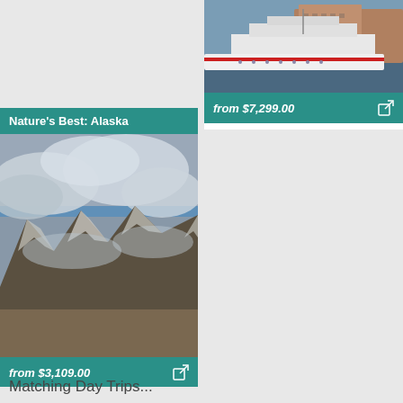[Figure (photo): Cruise ship docked near a coastal town with teal price banner showing from $7,299.00]
[Figure (photo): Nature's Best: Alaska card with mountain landscape photo and teal price banner showing from $3,109.00]
Matching Day Trips...